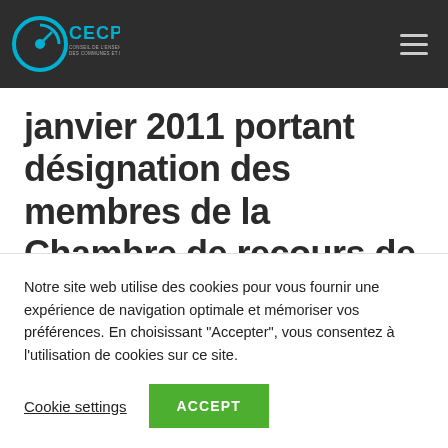CECP — header navigation bar with logo and menu
janvier 2011 portant désignation des membres de la Chambre de recours de l'enseignement officiel subventionné des…
Notre site web utilise des cookies pour vous fournir une expérience de navigation optimale et mémoriser vos préférences. En choisissant "Accepter", vous consentez à l'utilisation de cookies sur ce site.
Cookie settings   ACCEPT